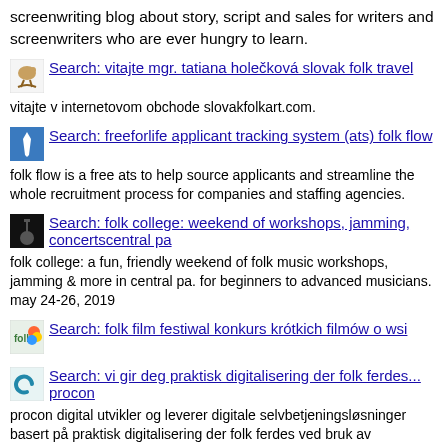screenwriting blog about story, script and sales for writers and screenwriters who are ever hungry to learn.
Search: vitajte mgr. tatiana holečková slovak folk travel
vitajte v internetovom obchode slovakfolkart.com.
Search: freeforlife applicant tracking system (ats) folk flow
folk flow is a free ats to help source applicants and streamline the whole recruitment process for companies and staffing agencies.
Search: folk college: weekend of workshops, jamming, concertscentral pa
folk college: a fun, friendly weekend of folk music workshops, jamming & more in central pa. for beginners to advanced musicians. may 24-26, 2019
Search: folk film festiwal konkurs krótkich filmów o wsi
Search: vi gir deg praktisk digitalisering der folk ferdes... procon
procon digital utvikler og leverer digitale selvbetjeningsløsninger basert på praktisk digitalisering der folk ferdes ved bruk av